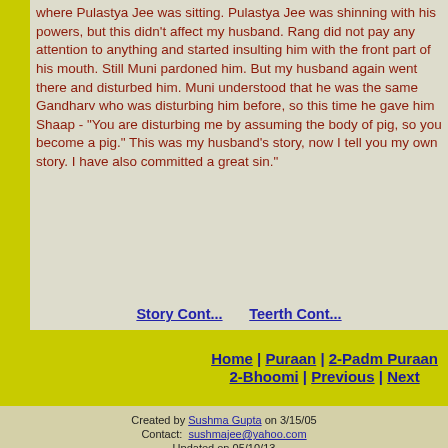where Pulastya Jee was sitting. Pulastya Jee was shinning with his powers, but this didn't affect my husband. Rang did not pay any attention to anything and started insulting him with the front part of his mouth. Still Muni pardoned him. But my husband again went there and disturbed him. Muni understood that he was the same Gandharv who was disturbing him before, so this time he gave him Shaap - "You are disturbing me by assuming the body of pig, so you become a pig." This was my husband's story, now I tell you my own story. I have also committed a great sin."
Story Cont...    Teerth Cont...
Home | Puraan | 2-Padm Puraan
2-Bhoomi | Previous | Next
Created by Sushma Gupta on 3/15/05
Contact: sushmajee@yahoo.com
Updated on 05/10/13